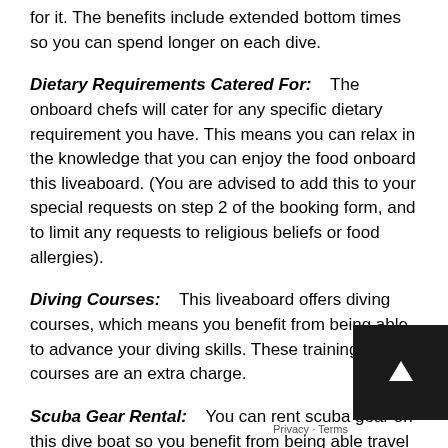for it. The benefits include extended bottom times so you can spend longer on each dive.
Dietary Requirements Catered For:    The onboard chefs will cater for any specific dietary requirement you have. This means you can relax in the knowledge that you can enjoy the food onboard this liveaboard. (You are advised to add this to your special requests on step 2 of the booking form, and to limit any requests to religious beliefs or food allergies).
Diving Courses:    This liveaboard offers diving courses, which means you benefit from being able to advance your diving skills. These training courses are an extra charge.
Scuba Gear Rental:    You can rent scuba gear on this dive boat so you benefit from being able travel light and simply rent all your scuba equipment once onboard.
Internet:    Free internet on this liveaboard, which means you can get online on your phone or laptop for no extra charge if you